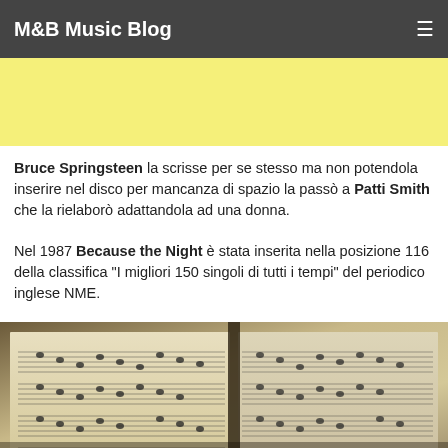M&B Music Blog
[Figure (other): Yellow advertisement banner area]
Bruce Springsteen la scrisse per se stesso ma non potendola inserire nel disco per mancanza di spazio la passò a Patti Smith che la rielaborò adattandola ad una donna.
Nel 1987 Because the Night è stata inserita nella posizione 116 della classifica "I migliori 150 singoli di tutti i tempi" del periodico inglese NME.
[Figure (photo): Close-up photograph of open sheet music / musical score pages]